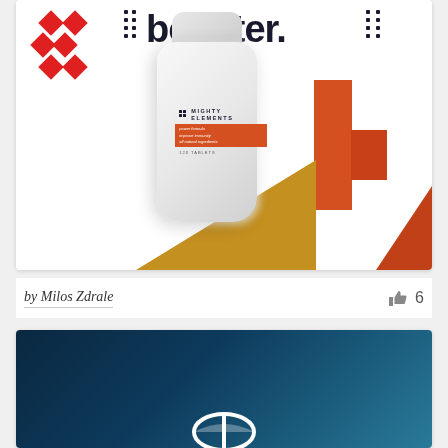[Figure (photo): Product packaging photo: Mighty Elements supplement bottle (immune booster, 120 tablets) on white background with orange geometric shapes and red diamond decorative elements. Bold 'booster.' text at top.]
by Milos Zdrale
6
[Figure (photo): Dark navy blue gradient background card, partially visible, with a white pill/capsule icon at the bottom center.]